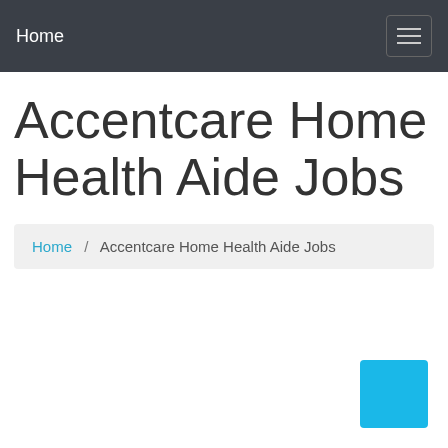Home
Accentcare Home Health Aide Jobs
Home / Accentcare Home Health Aide Jobs